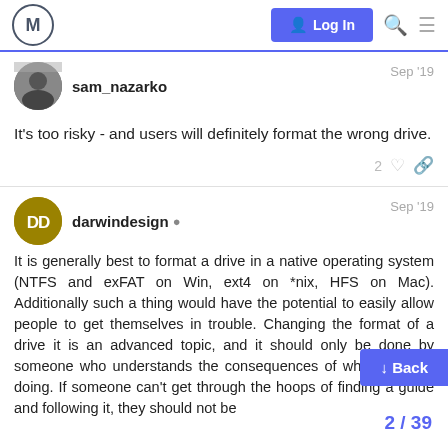M  Log In
sam_nazarko  Sep '19
It's too risky - and users will definitely format the wrong drive.
2
darwindesign  Sep '19
It is generally best to format a drive in a native operating system (NTFS and exFAT on Win, ext4 on *nix, HFS on Mac). Additionally such a thing would have the potential to easily allow people to get themselves in trouble. Changing the format of a drive it is an advanced topic, and it should only be done by someone who understands the consequences of what they are doing. If someone can't get through the hoops of finding a guide and following it, they should not be formatting it in the first place.
↓ Back
2 / 39